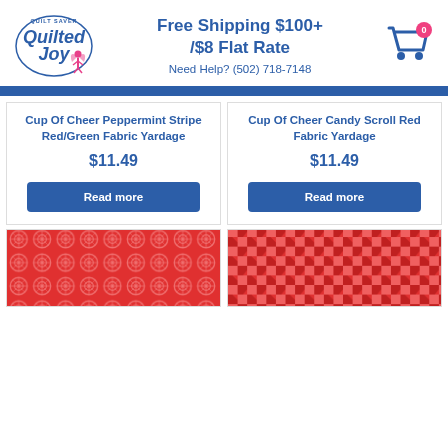[Figure (logo): Quilted Joy quilt shop logo with fairy graphic]
Free Shipping $100+ /$8 Flat Rate
Need Help? (502) 718-7148
[Figure (other): Shopping cart icon with badge showing 0]
Cup Of Cheer Peppermint Stripe Red/Green Fabric Yardage
$11.49
Read more
Cup Of Cheer Candy Scroll Red Fabric Yardage
$11.49
Read more
[Figure (photo): Red fabric with geometric floral scroll pattern]
[Figure (photo): Red fabric with houndstooth pattern]